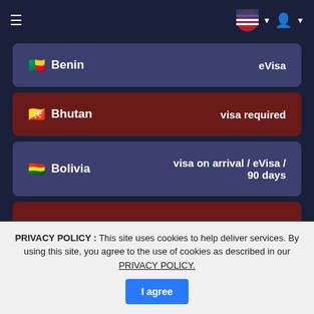Navigation bar with hamburger menu, US flag, and user icon
Benin — eVisa
Bhutan — visa required
Bolivia — visa on arrival / eVisa / 90 days
Bosnia and Herzegovina — visa required
PRIVACY POLICY : This site uses cookies to help deliver services. By using this site, you agree to the use of cookies as described in our PRIVACY POLICY.